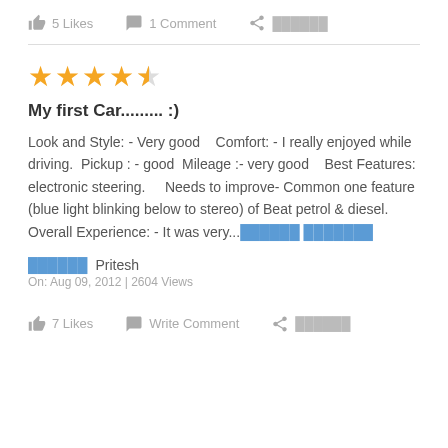5 Likes   1 Comment   ███████
[Figure (other): 4.5 star rating (4 full orange stars and 1 half star)]
My first Car......... :)
Look and Style: - Very good    Comfort: - I really enjoyed while driving.  Pickup : - good  Mileage :- very good   Best Features: electronic steering.     Needs to improve- Common one feature (blue light blinking below to stereo) of Beat petrol & diesel.    Overall Experience: - It was very...███████ ███████
███████ Pritesh
On: Aug 09, 2012 | 2604 Views
7 Likes   Write Comment   ███████